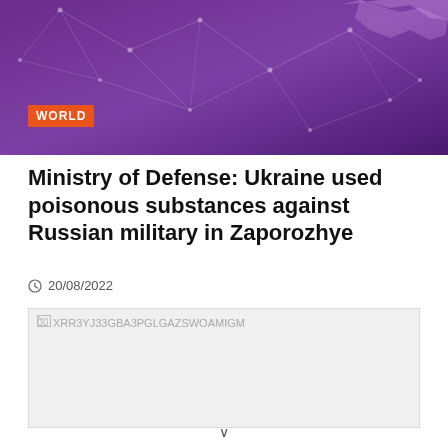[Figure (illustration): Purple/violet header banner with network/polygon geometric pattern overlay and a faint map of a region (possibly Ukraine) in lighter pink/purple on the right side. Orange 'WORLD' category tag at bottom-left of banner.]
Ministry of Defense: Ukraine used poisonous substances against Russian military in Zaporozhye
20/08/2022
[Figure (photo): Broken/missing image placeholder with alt text XRR3YJ33GBA3PGLGAZSWOAMIGM]